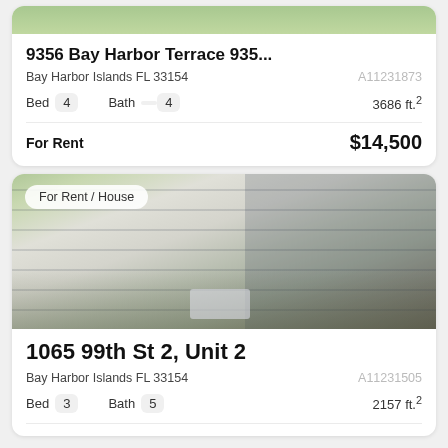[Figure (photo): Top portion of property photo (cropped), showing greenery/vegetation at the top]
9356 Bay Harbor Terrace 935...
Bay Harbor Islands FL 33154    A11231873
Bed 4    Bath 4    3686 ft.²
For Rent    $14,500
[Figure (photo): Exterior photo of a modern multi-story house with palm trees and a white car in the driveway. A badge reads 'For Rent / House'.]
1065 99th St 2, Unit 2
Bay Harbor Islands FL 33154    A11231505
Bed 3    Bath 5    2157 ft.²